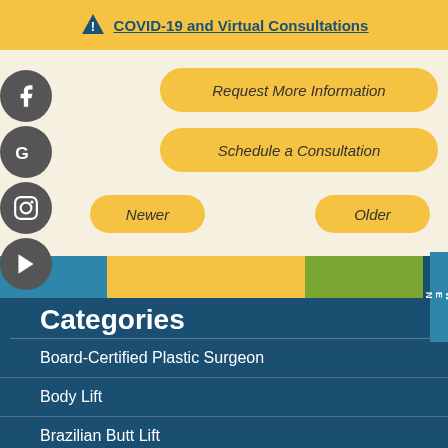COVID-19 and Virtual Consultations
Request More Information
Schedule a Consultation
Newer
Older
[Figure (infographic): Horizontal color bar with blue, yellow/gold, and green sections plus a dark navy section on right edge]
Categories
Board-Certified Plastic Surgeon
Body Lift
Brazilian Butt Lift
Breast Augmentation
Breast Implants